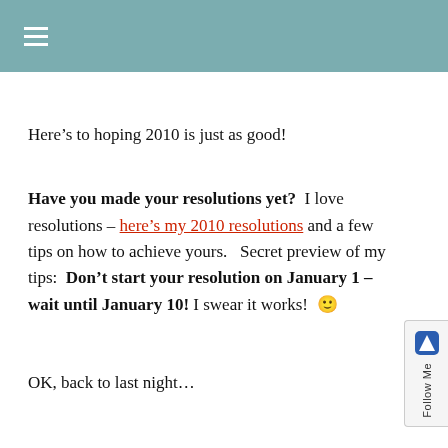≡
Here's to hoping 2010 is just as good!
Have you made your resolutions yet?  I love resolutions – here's my 2010 resolutions and a few tips on how to achieve yours.   Secret preview of my tips:  Don't start your resolution on January 1 – wait until January 10! I swear it works! 🙂
OK, back to last night…